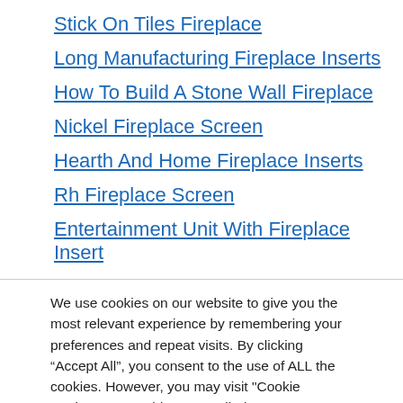Stick On Tiles Fireplace
Long Manufacturing Fireplace Inserts
How To Build A Stone Wall Fireplace
Nickel Fireplace Screen
Hearth And Home Fireplace Inserts
Rh Fireplace Screen
Entertainment Unit With Fireplace Insert
We use cookies on our website to give you the most relevant experience by remembering your preferences and repeat visits. By clicking “Accept All”, you consent to the use of ALL the cookies. However, you may visit "Cookie Settings" to provide a controlled consent.